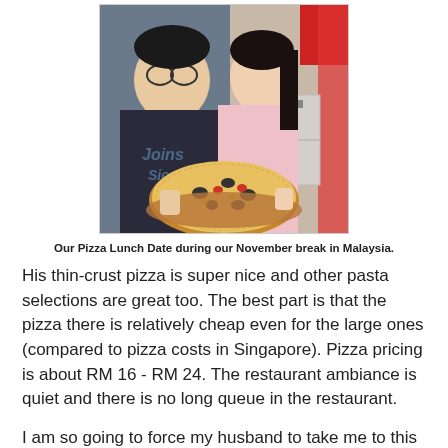[Figure (photo): A couple sitting at a restaurant table, smiling and holding a large pizza with black olives, cheese, and vegetables on a wooden board. Red/pink restaurant decor in background.]
Our Pizza Lunch Date during our November break in Malaysia.
His thin-crust pizza is super nice and other pasta selections are great too. The best part is that the pizza there is relatively cheap even for the large ones (compared to pizza costs in Singapore). Pizza pricing is about RM 16 - RM 24. The restaurant ambiance is quiet and there is no long queue in the restaurant.
I am so going to force my husband to take me to this place